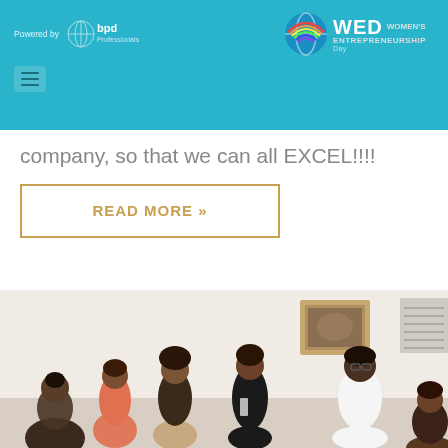Powered by BPD | WED Women's Entrepreneurship Day
company, so that we can all EXCEL!!!!
READ MORE »
[Figure (photo): Group of women in an indoor meeting/networking event, standing and conversing in a room with artwork on the wall]